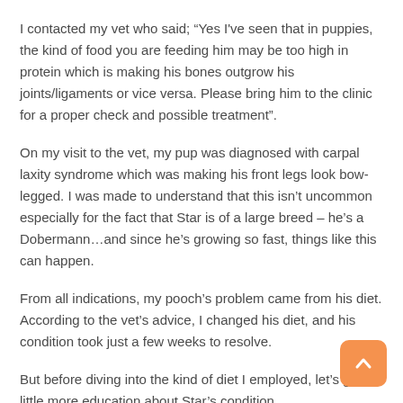I contacted my vet who said; “Yes I've seen that in puppies, the kind of food you are feeding him may be too high in protein which is making his bones outgrow his joints/ligaments or vice versa. Please bring him to the clinic for a proper check and possible treatment”.
On my visit to the vet, my pup was diagnosed with carpal laxity syndrome which was making his front legs look bow-legged. I was made to understand that this isn’t uncommon especially for the fact that Star is of a large breed – he’s a Dobermann…and since he’s growing so fast, things like this can happen.
From all indications, my pooch’s problem came from his diet. According to the vet’s advice, I changed his diet, and his condition took just a few weeks to resolve.
But before diving into the kind of diet I employed, let’s get a little more education about Star’s condition.
What is Carpal Laxity Syndrome?